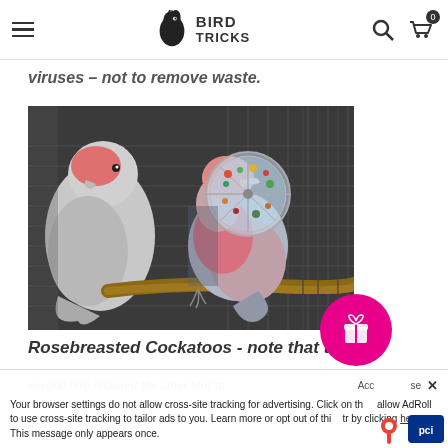BIRD TRICKS
viruses – not to remove waste.
[Figure (photo): Two rosebreasted cockatoos (galahs) in a wire cage, one perched on a branch eating from a round clear foraging toy filled with colorful food, the other standing beside it.]
Rosebreasted Cockatoos - note that the
second bird required the other bird to
Acc                 se ×
Your browser settings do not allow cross-site tracking for advertising. Click on th     allow AdRoll to use cross-site tracking to tailor ads to you. Learn more or opt out of thi    tr by clicking here. This message only appears once.